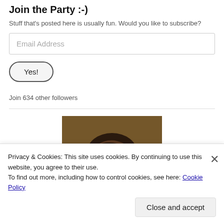Join the Party :-)
Stuff that's posted here is usually fun. Would you like to subscribe?
Email Address
Yes!
Join 634 other followers
[Figure (photo): Portrait photo showing the top portion of a person's head with dark brown hair against a brown background]
Privacy & Cookies: This site uses cookies. By continuing to use this website, you agree to their use.
To find out more, including how to control cookies, see here: Cookie Policy
Close and accept